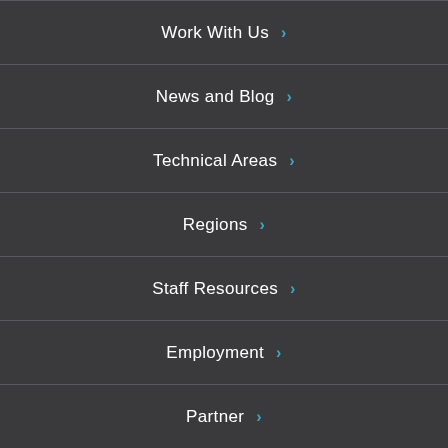Work With Us
News and Blog
Technical Areas
Regions
Staff Resources
Employment
Partner